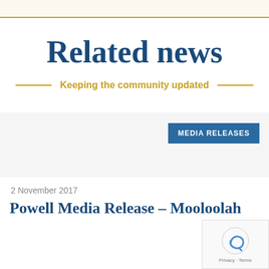Related news
Keeping the community updated
MEDIA RELEASES
2 November 2017
Powell Media Release – Mooloolah